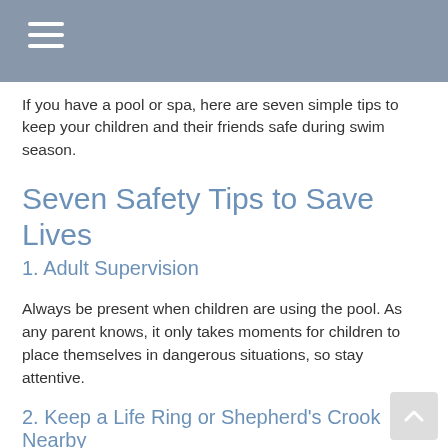If you have a pool or spa, here are seven simple tips to keep your children and their friends safe during swim season.
Seven Safety Tips to Save Lives
1. Adult Supervision
Always be present when children are using the pool. As any parent knows, it only takes moments for children to place themselves in dangerous situations, so stay attentive.
2. Keep a Life Ring or Shepherd's Crook Nearby
This lifesaver can quickly pull someone from the pool. Always check that it is in good condition.